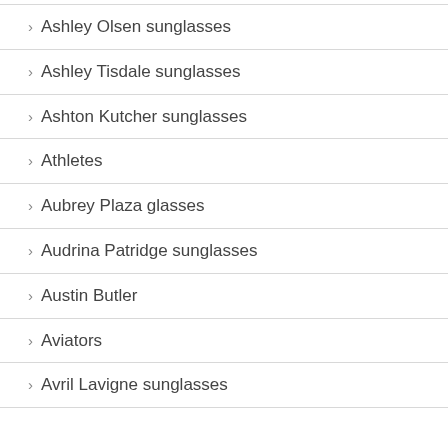> Ashley Olsen sunglasses
> Ashley Tisdale sunglasses
> Ashton Kutcher sunglasses
> Athletes
> Aubrey Plaza glasses
> Audrina Patridge sunglasses
> Austin Butler
> Aviators
> Avril Lavigne sunglasses